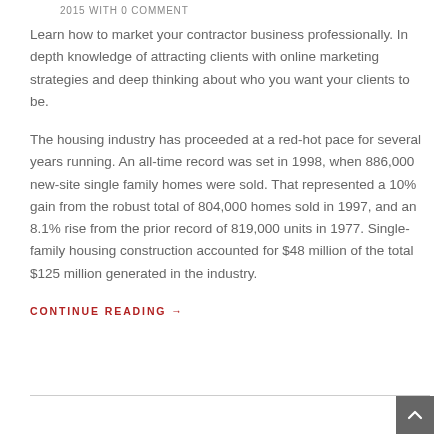2015 WITH 0 COMMENT
Learn how to market your contractor business professionally. In depth knowledge of attracting clients with online marketing strategies and deep thinking about who you want your clients to be.
The housing industry has proceeded at a red-hot pace for several years running. An all-time record was set in 1998, when 886,000 new-site single family homes were sold. That represented a 10% gain from the robust total of 804,000 homes sold in 1997, and an 8.1% rise from the prior record of 819,000 units in 1977. Single-family housing construction accounted for $48 million of the total $125 million generated in the industry.
CONTINUE READING →